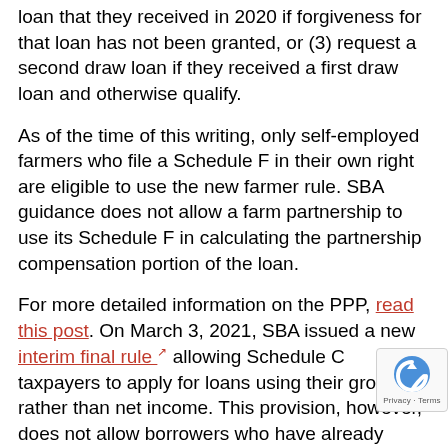loan that they received in 2020 if forgiveness for that loan has not been granted, or (3) request a second draw loan if they received a first draw loan and otherwise qualify.
As of the time of this writing, only self-employed farmers who file a Schedule F in their own right are eligible to use the new farmer rule. SBA guidance does not allow a farm partnership to use its Schedule F in calculating the partnership compensation portion of the loan.
For more detailed information on the PPP, read this post. On March 3, 2021, SBA issued a new interim final rule allowing Schedule C taxpayers to apply for loans using their gross, rather than net income. This provision, however, does not allow borrowers who have already received a loan to receive an increase. It also states that borrowers with more than $150,000 in gross income will not automatically deemed to have made the statutorily required certific concerning the necessity of the loan request in good faith,